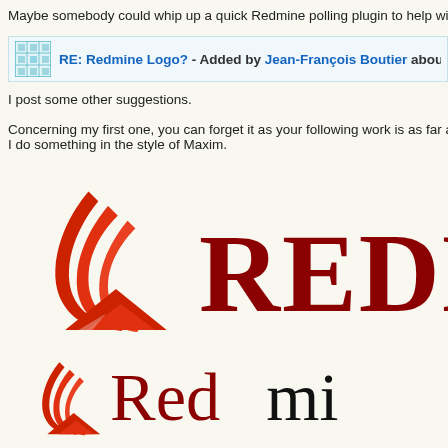Maybe somebody could whip up a quick Redmine polling plugin to help with the d
RE: Redmine Logo? - Added by Jean-François Boutier about 14 years
I post some other suggestions.
Concerning my first one, you can forget it as your following work is as far as bette I do something in the style of Maxim.
[Figure (logo): Redmine logo variant 1: red wave/mountain icon on left, large dark red serif text 'REDM' on right (cut off)]
[Figure (logo): Redmine logo variant 2: red wave/mountain icon on left, mixed case dark red and black text 'Redmi' on right (cut off)]